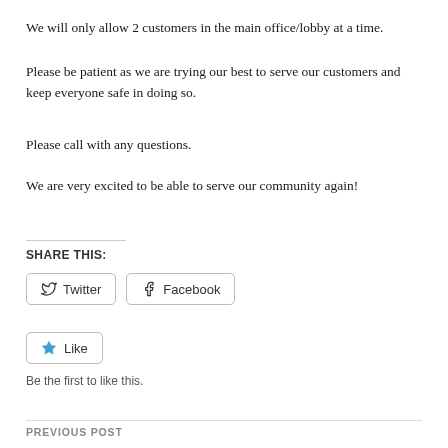We will only allow 2 customers in the main office/lobby at a time.
Please be patient as we are trying our best to serve our customers and keep everyone safe in doing so.
Please call with any questions.
We are very excited to be able to serve our community again!
SHARE THIS:
[Figure (other): Twitter and Facebook social share buttons]
[Figure (other): Like button with star icon]
Be the first to like this.
PREVIOUS POST